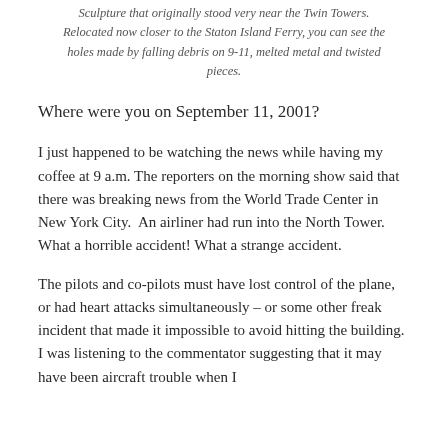Sculpture that originally stood very near the Twin Towers. Relocated now closer to the Staton Island Ferry, you can see the holes made by falling debris on 9-11, melted metal and twisted pieces.
Where were you on September 11, 2001?
I just happened to be watching the news while having my coffee at 9 a.m. The reporters on the morning show said that there was breaking news from the World Trade Center in New York City.  An airliner had run into the North Tower. What a horrible accident! What a strange accident.
The pilots and co-pilots must have lost control of the plane, or had heart attacks simultaneously – or some other freak incident that made it impossible to avoid hitting the building.  I was listening to the commentator suggesting that it may have been aircraft trouble when I